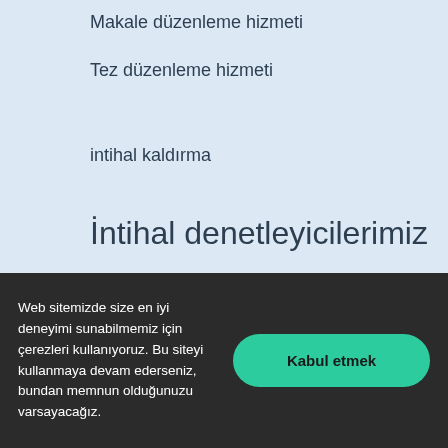Makale düzenleme hizmeti
Tez düzenleme hizmeti
intihal kaldırma
İntihal denetleyicilerimiz
Avrupa
Birleşik...
Web sitemizde size en iyi deneyimi sunabilmemiz için çerezleri kullanıyoruz. Bu siteyi kullanmaya devam ederseniz, bundan memnun olduğunuzu varsayacağız.
Kabul etmek